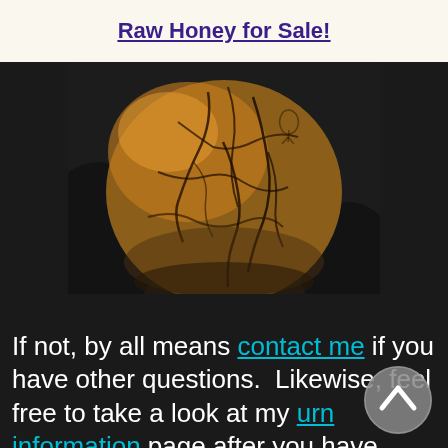Raw Honey for Sale!
[Figure (photo): Close-up photo of a round, golden-brown textured object (possibly a wooden urn or gourd) with dark crack-like patterns on its surface, set against a dark background.]
If not, by all means contact me if you have other questions.  Likewise, feel free to take a look at my urn information page after you have read this article, it may be some help to you.  I also invite you to take a look at